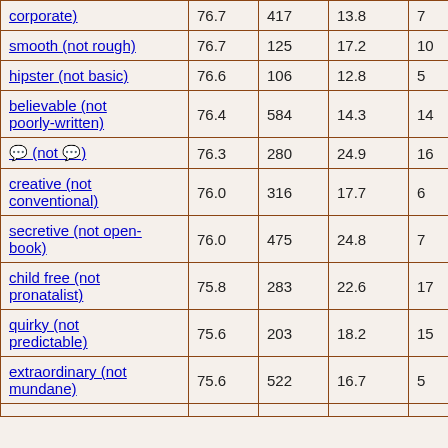| corporate) | 76.7 | 417 | 13.8 | 7 |
| smooth (not rough) | 76.7 | 125 | 17.2 | 10 |
| hipster (not basic) | 76.6 | 106 | 12.8 | 5 |
| believable (not poorly-written) | 76.4 | 584 | 14.3 | 14 |
| ? (not ?) | 76.3 | 280 | 24.9 | 16 |
| creative (not conventional) | 76.0 | 316 | 17.7 | 6 |
| secretive (not open-book) | 76.0 | 475 | 24.8 | 7 |
| child free (not pronatalist) | 75.8 | 283 | 22.6 | 17 |
| quirky (not predictable) | 75.6 | 203 | 18.2 | 15 |
| extraordinary (not mundane) | 75.6 | 522 | 16.7 | 5 |
| ... |  |  |  |  |